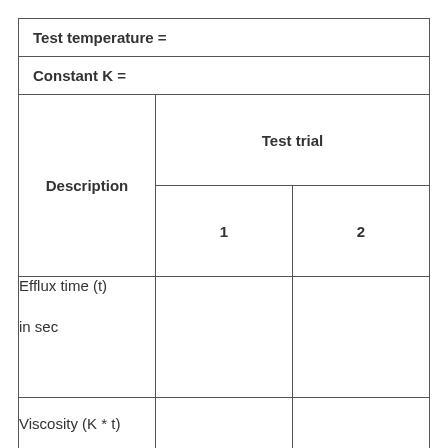| Description | Test trial 1 | Test trial 2 |
| --- | --- | --- |
| Test temperature = |  |  |
| Constant K = |  |  |
| Efflux time (t)

in sec |  |  |
| Viscosity (K * t) |  |  |